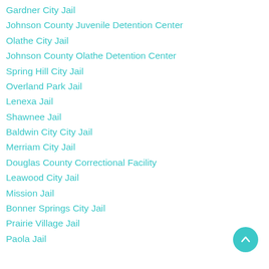Gardner City Jail
Johnson County Juvenile Detention Center
Olathe City Jail
Johnson County Olathe Detention Center
Spring Hill City Jail
Overland Park Jail
Lenexa Jail
Shawnee Jail
Baldwin City City Jail
Merriam City Jail
Douglas County Correctional Facility
Leawood City Jail
Mission Jail
Bonner Springs City Jail
Prairie Village Jail
Paola Jail